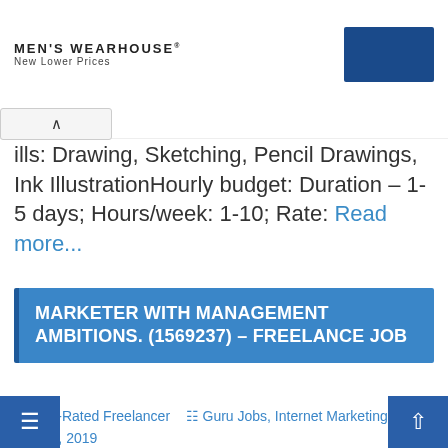[Figure (other): Men's Wearhouse advertisement banner with logo on left and blue rectangle on right]
ills: Drawing, Sketching, Pencil Drawings, Ink IllustrationHourly budget: Duration – 1-5 days; Hours/week: 1-10; Rate: Read more...
MARKETER WITH MANAGEMENT AMBITIONS. (1569237) – FREELANCE JOB
Top-Rated Freelancer  Guru Jobs, Internet Marketing  July 25, 2019
To weed out robo quotes, please start your quote with the LAST word in this note. You Marketing Building...